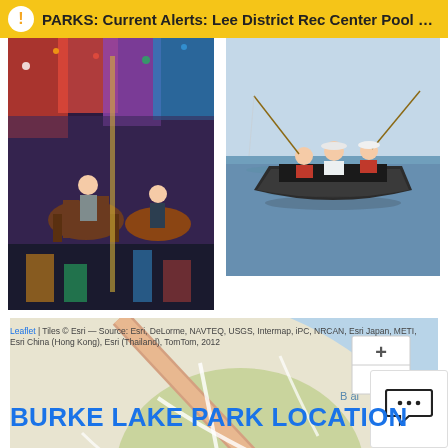PARKS: Current Alerts: Lee District Rec Center Pool M...
[Figure (photo): Children riding a carousel with colorful horses]
[Figure (photo): People fishing from a small boat on a lake]
[Figure (map): Leaflet map showing Burke Lake Park location with blue pin marker near Ox Rd]
Leaflet | Tiles © Esri — Source: Esri, DeLorme, NAVTEQ, USGS, Intermap, iPC, NRCAN, Esri Japan, METI, Esri China (Hong Kong), Esri (Thailand), TomTom, 2012
BURKE LAKE PARK LOCATION